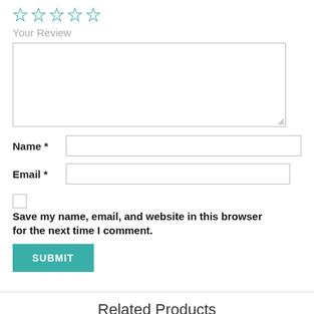[Figure (other): Five empty star rating icons in teal/cyan outline]
Your Review
[Figure (other): Large empty textarea input box for review text]
Name *
[Figure (other): Text input field for Name]
Email *
[Figure (other): Text input field for Email]
[Figure (other): Checkbox (unchecked)]
Save my name, email, and website in this browser for the next time I comment.
[Figure (other): SUBMIT button in teal color]
Related Products
[Figure (other): Empty product card box at bottom]